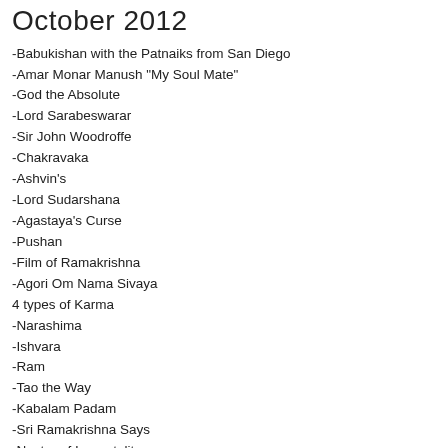October 2012
-Babukishan with the Patnaiks from San Diego
-Amar Monar Manush "My Soul Mate"
-God the Absolute
-Lord Sarabeswarar
-Sir John Woodroffe
-Chakravaka
-Ashvin's
-Lord Sudarshana
-Agastaya's Curse
-Pushan
-Film of Ramakrishna
-Agori Om Nama Sivaya
4 types of Karma
-Narashima
-Ishvara
-Ram
-Tao the Way
-Kabalam Padam
-Sri Ramakrishna Says
-Nectar of Immortality